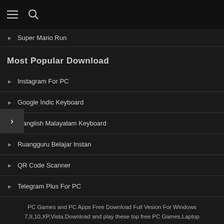Menu / Search
Super Mario Run
Most Popular Download
Instagram For PC
Google Indic Keyboard
Manglish Malayalam Keyboard
Ruangguru Belajar Instan
QR Code Scanner
Telegram Plus For PC
PC Games and PC Apps Free Download Full Vesion For Windows 7,8,10,XP,Vista.Download and play these top free PC Games,Laptop